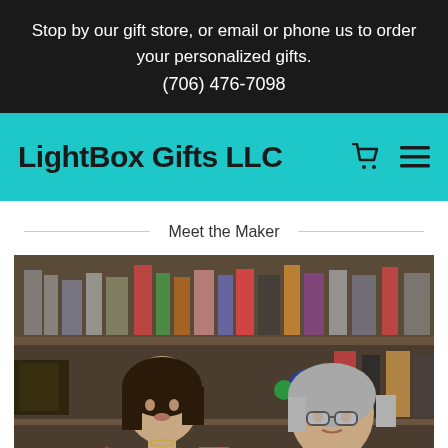Stop by our gift store, or email or phone us to order your personalized gifts.
(706) 476-7098
LightBox Gifts LLC
Meet the Maker
[Figure (photo): Two women working in a craft/gift workshop surrounded by supplies and materials on shelves. One younger woman with dark hair wearing a chevron-patterned top looks down, and an older woman with gray hair and glasses looks on.]